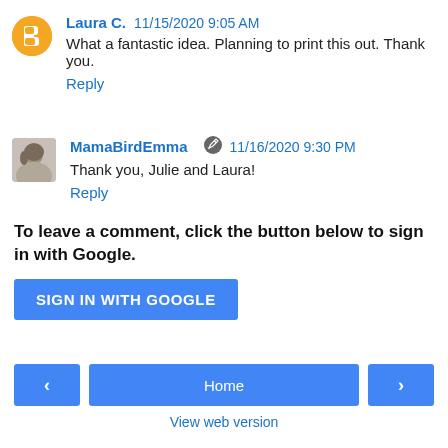Laura C.  11/15/2020 9:05 AM
What a fantastic idea. Planning to print this out. Thank you.
Reply
MamaBirdEmma  11/16/2020 9:30 PM
Thank you, Julie and Laura!
Reply
To leave a comment, click the button below to sign in with Google.
SIGN IN WITH GOOGLE
‹
Home
›
View web version